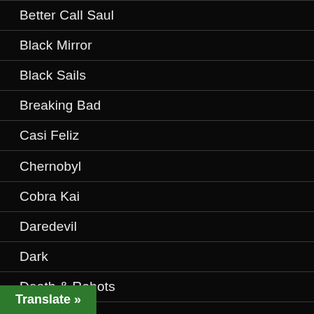Better Call Saul
Black Mirror
Black Sails
Breaking Bad
Casi Feliz
Chernobyl
Cobra Kai
Daredevil
Dark
Death & Robots
Death Note
Translate »